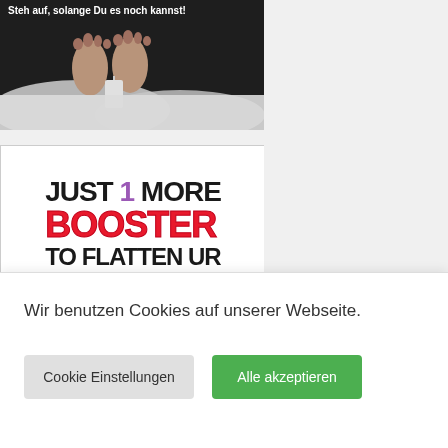[Figure (photo): Image with white text 'Steh auf, solange Du es noch kannst!' over a dark image showing feet covered with a white sheet (morgue-style)]
[Figure (photo): Sign reading 'JUST 1 MORE BOOSTER TO FLATTEN UR PULSE' with BOOSTER in large red letters and a flatline pulse graphic]
[Figure (photo): Partial image showing bold italic text 'Wer Kritiker']
Wir benutzen Cookies auf unserer Webseite.
Cookie Einstellungen
Alle akzeptieren